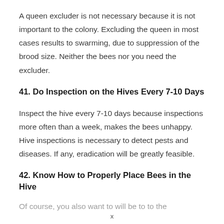A queen excluder is not necessary because it is not important to the colony. Excluding the queen in most cases results to swarming, due to suppression of the brood size. Neither the bees nor you need the excluder.
41. Do Inspection on the Hives Every 7-10 Days
Inspect the hive every 7-10 days because inspections more often than a week, makes the bees unhappy. Hive inspections is necessary to detect pests and diseases. If any, eradication will be greatly feasible.
42. Know How to Properly Place Bees in the Hive
Of course, you also want to...
x